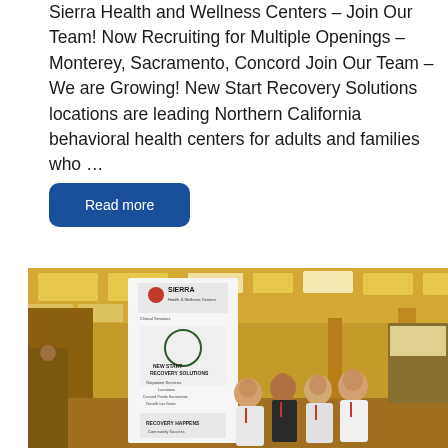Sierra Health and Wellness Centers – Join Our Team! Now Recruiting for Multiple Openings – Monterey, Sacramento, Concord Join Our Team – We are Growing! New Start Recovery Solutions locations are leading Northern California behavioral health centers for adults and families who …
Read more
[Figure (photo): Four people standing in front of a Sierra Health and Wellness Centers and New Start Recovery Solutions banner at what appears to be a conference or expo hall with warm lighting and ceiling panels.]